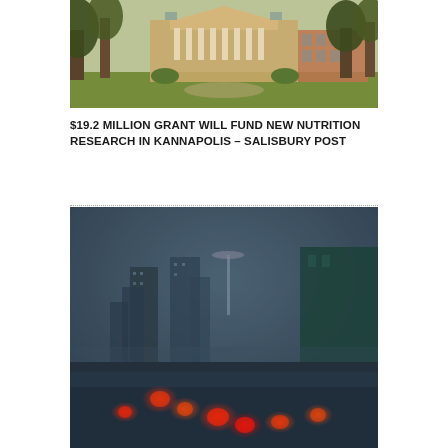[Figure (photo): Photograph of a university campus building with large trees in the foreground, red-brick colonial-style building with white columns visible in the background, green lawn.]
$19.2 MILLION GRANT WILL FUND NEW NUTRITION RESEARCH IN KANNAPOLIS – SALISBURY POST
[Figure (photo): Photograph of a city street at night in rainy weather with tall skyscrapers shrouded in fog, cars with glowing red tail lights in the foreground, wet road surface, blue-grey atmospheric haze.]